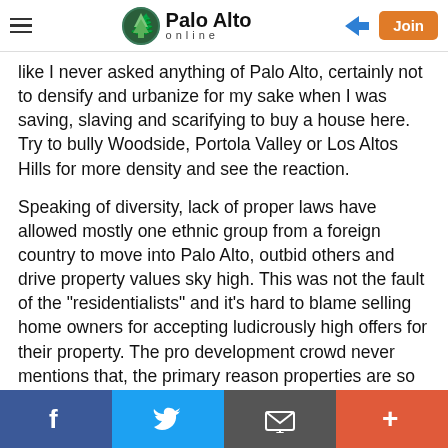Palo Alto online
like I never asked anything of Palo Alto, certainly not to densify and urbanize for my sake when I was saving, slaving and scarifying to buy a house here. Try to bully Woodside, Portola Valley or Los Altos Hills for more density and see the reaction.
Speaking of diversity, lack of proper laws have allowed mostly one ethnic group from a foreign country to move into Palo Alto, outbid others and drive property values sky high. This was not the fault of the "residentialists" and it's hard to blame selling home owners for accepting ludicrously high offers for their property. The pro development crowd never mentions that, the primary reason properties are so expensive now in Palo Alto. When people believe they have an intrinsic right to live here, although they can't afford to, and demand others to
f  Twitter  Email  +